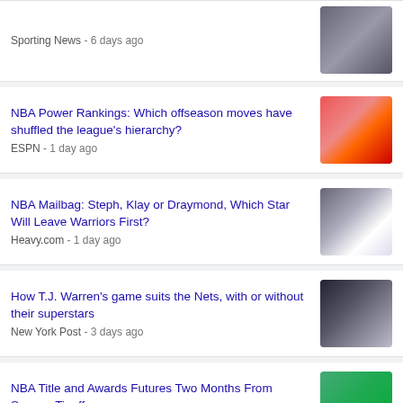Sporting News - 6 days ago
NBA Power Rankings: Which offseason moves have shuffled the league's hierarchy?
ESPN - 1 day ago
NBA Mailbag: Steph, Klay or Draymond, Which Star Will Leave Warriors First?
Heavy.com - 1 day ago
How T.J. Warren's game suits the Nets, with or without their superstars
New York Post - 3 days ago
NBA Title and Awards Futures Two Months From Season Tipoff
Sports Illustrated - 6 days ago